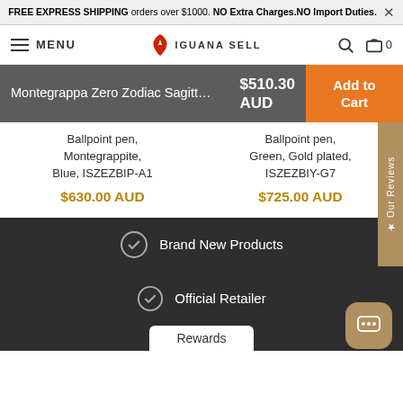FREE EXPRESS SHIPPING orders over $1000. NO Extra Charges.NO Import Duties.
[Figure (screenshot): Iguana Sell navigation bar with hamburger menu, logo, search and cart icons]
Montegrappa Zero Zodiac Sagitt... $510.30 AUD Add to Cart
Ballpoint pen, Montegrappite, Blue, ISZEZBIP-A1
$630.00 AUD
Ballpoint pen, Green, Gold plated, ISZEZBIY-G7
$725.00 AUD
★ Our Reviews
Brand New Products
Official Retailer
Rewards